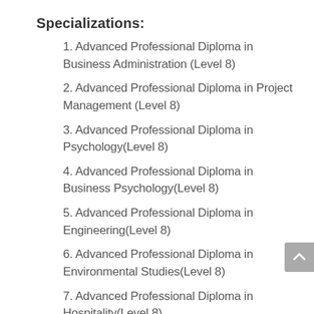Specializations:
1. Advanced Professional Diploma in Business Administration (Level 8)
2. Advanced Professional Diploma in Project Management (Level 8)
3. Advanced Professional Diploma in Psychology(Level 8)
4. Advanced Professional Diploma in Business Psychology(Level 8)
5. Advanced Professional Diploma in Engineering(Level 8)
6. Advanced Professional Diploma in Environmental Studies(Level 8)
7. Advanced Professional Diploma in Hospitality(Level 8)
8. Advanced Professional Diploma in